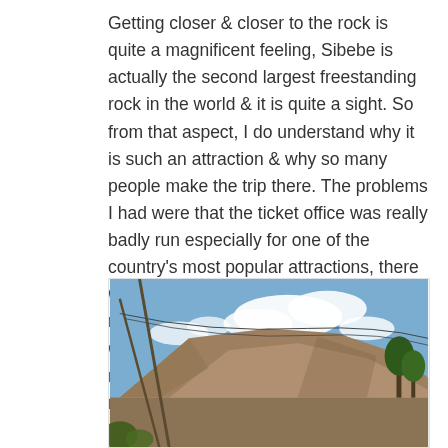Getting closer & closer to the rock is quite a magnificent feeling, Sibebe is actually the second largest freestanding rock in the world & it is quite a sight. So from that aspect, I do understand why it is such an attraction & why so many people make the trip there. The problems I had were that the ticket office was really badly run especially for one of the country's most popular attractions, there was some sort of party happening with music blaring & there were large crowds which took away from the beauty of nature. I wouldn't recommend this to nature lovers or peace seekers.
[Figure (photo): Outdoor landscape photo showing a large rocky hill or mountain under a partly cloudy blue sky, with some trees and utility poles with wires in the foreground.]